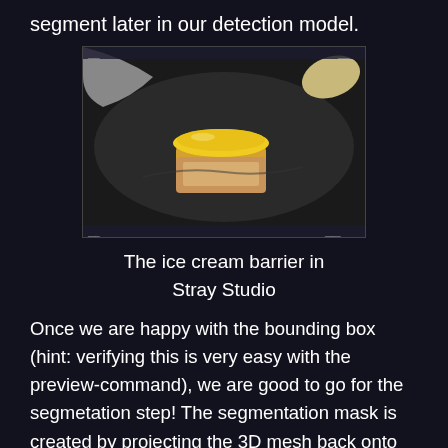segment later in our detection model.
[Figure (photo): A top-down camera view of an ice cream jar (yellow lid) partially submerged in a dark water or liquid surface, with white/grey objects visible at the edges. Screenshot from Stray Studio software.]
The ice cream barrier in Stray Studio
Once we are happy with the bounding box (hint: verifying this is very easy with the preview-command), we are good to go for the segmetation step! The segmentation mask is created by projecting the 3D mesh back onto the 2D images used to create the scene. We store the resulting masks as files in the scene